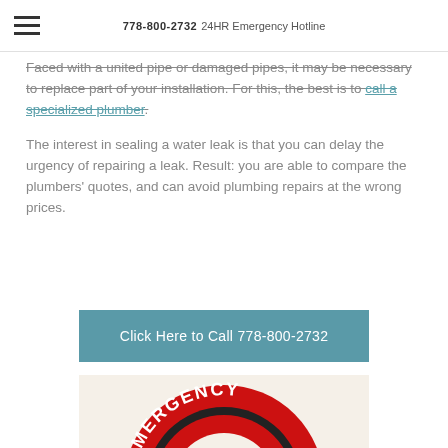778-800-2732  24HR Emergency Hotline
Faced with a united pipe or damaged pipes, it may be necessary to replace part of your installation. For this, the best is to call a specialized plumber.
The interest in sealing a water leak is that you can delay the urgency of repairing a leak. Result: you are able to compare the plumbers' quotes, and can avoid plumbing repairs at the wrong prices.
Click Here to Call 778-800-2732
[Figure (photo): Emergency plumbing badge/sticker showing red circular design with EMERGENCY text in bold letters]